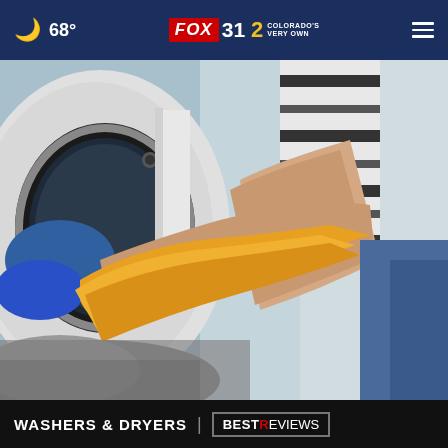68° FOX 31 2 COLORADO'S VERY OWN
[Figure (photo): Person in striped shirt loading or unloading laundry from a front-loading washing machine or dryer, handling a yellow garment. Scene is close-up showing hands, arm, and clothing items.]
WASHERS & DRYERS | BESTREVIEWS